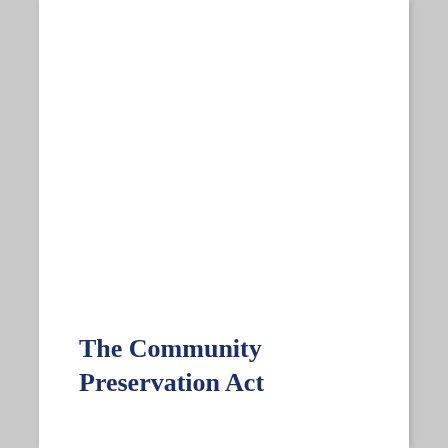The Community Preservation Act